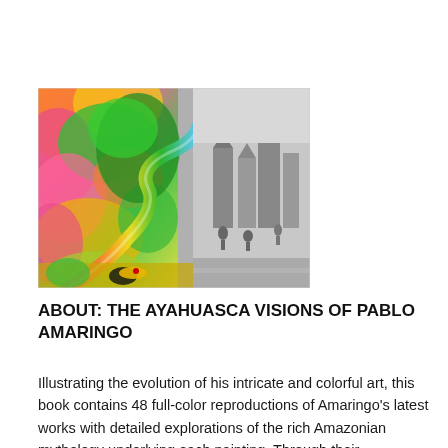[Figure (illustration): Book cover of 'The Ayahuasca Visions of Pablo Amaringo' featuring a colorful, intricate painting split between vivid psychedelic colors on the left (orange, pink, green, yellow flowers and foliage) and grayscale imagery on the right (grey figures and architecture), with a winding snake-like river of rainbow color connecting them.]
ABOUT: THE AYAHUASCA VISIONS OF PABLO AMARINGO
Illustrating the evolution of his intricate and colorful art, this book contains 48 full-color reproductions of Amaringo's latest works with detailed explorations of the rich Amazonian mythology underlying each painting. Through their longstanding relationship with Amaringo, coauthors Charing and Cloudsley are able to share the personal